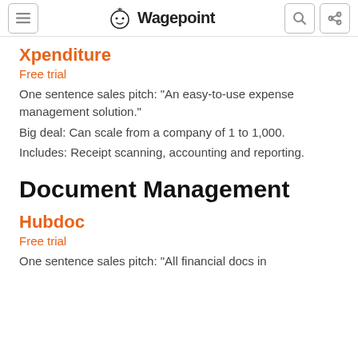Wagepoint
Xpenditure
Free trial
One sentence sales pitch: “An easy-to-use expense management solution.”
Big deal: Can scale from a company of 1 to 1,000.
Includes: Receipt scanning, accounting and reporting.
Document Management
Hubdoc
Free trial
One sentence sales pitch: “All financial docs in